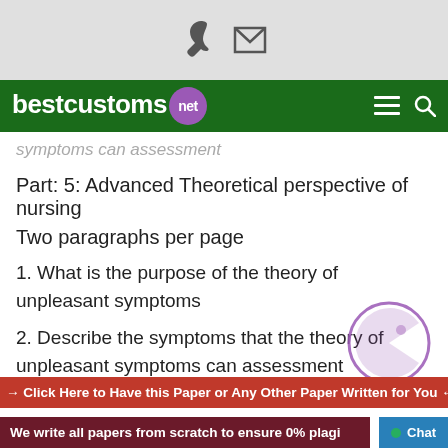[Figure (screenshot): Top gray bar with phone and email icons]
bestcustoms.net
symptoms can assessment
Part: 5: Advanced Theoretical perspective of nursing
Two paragraphs per page
1. What is the purpose of the theory of unpleasant symptoms
2. Describe the symptoms that the theory of unpleasant symptoms can assessment
→ Click Here to Have this Paper or Any Other Paper Written for You ←
We write all papers from scratch to ensure 0% plagi